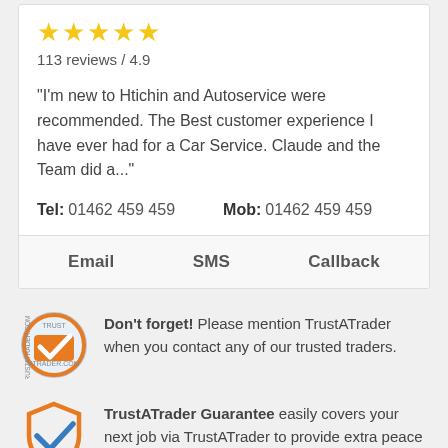[Figure (other): Five gold star rating icons]
113 reviews / 4.9
"I'm new to Htichin and Autoservice were recommended. The Best customer experience I have ever had for a Car Service. Claude and the Team did a..."
Tel: 01462 459 459   Mob: 01462 459 459
Email   SMS   Callback
Don't forget! Please mention TrustATrader when you contact any of our trusted traders.
TrustATrader Guarantee easily covers your next job via TrustATrader to provide extra peace